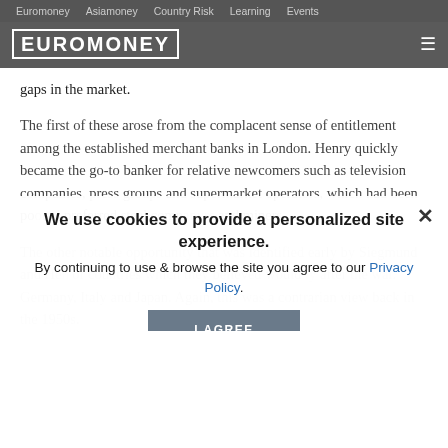Euromoney   Asiamoney   Country Risk   Learning   Events
[Figure (logo): Euromoney logo in white block letters with border on dark grey header bar, with hamburger menu icon on right]
gaps in the market.
The first of these arose from the complacent sense of entitlement among the established merchant banks in London. Henry quickly became the go-to banker for relative newcomers such as television companies, press groups and supermarket operators, which had been pohad been po preferred steel comp rs and miners.
We use cookies to provide a personalized site experience.
By continuing to use & browse the site you agree to our Privacy Policy.
I AGREE
The other notable opportunity that was identified early by Siegmund and Hen of countries which they believed would ly after the war. Germany, Italy and Japan. Again, this was a contrarian view back in the 1950s.